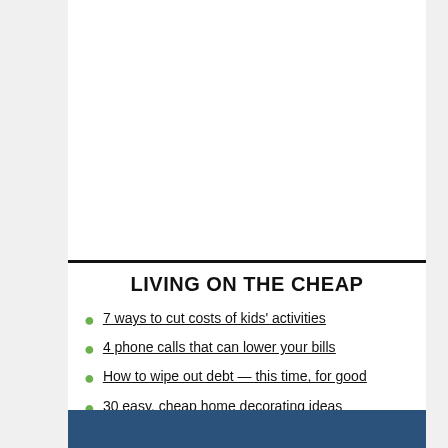LIVING ON THE CHEAP
7 ways to cut costs of kids' activities
4 phone calls that can lower your bills
How to wipe out debt — this time, for good
30 easy, cheap home decorating ideas